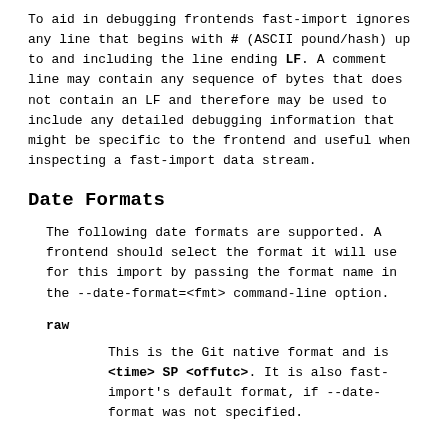To aid in debugging frontends fast-import ignores any line that begins with # (ASCII pound/hash) up to and including the line ending LF. A comment line may contain any sequence of bytes that does not contain an LF and therefore may be used to include any detailed debugging information that might be specific to the frontend and useful when inspecting a fast-import data stream.
Date Formats
The following date formats are supported. A frontend should select the format it will use for this import by passing the format name in the --date-format=<fmt> command-line option.
raw
This is the Git native format and is <time> SP <offutc>. It is also fast-import's default format, if --date-format was not specified.